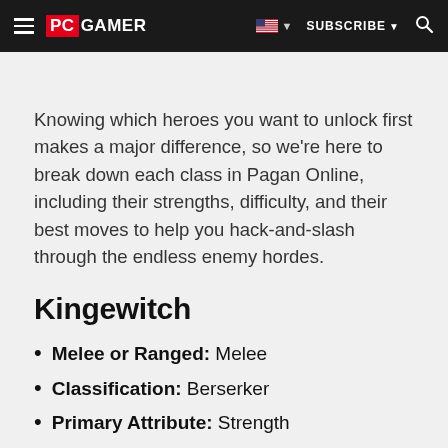PC GAMER | SUBSCRIBE
Knowing which heroes you want to unlock first makes a major difference, so we're here to break down each class in Pagan Online, including their strengths, difficulty, and their best moves to help you hack-and-slash through the endless enemy hordes.
Kingewitch
Melee or Ranged: Melee
Classification: Berserker
Primary Attribute: Strength